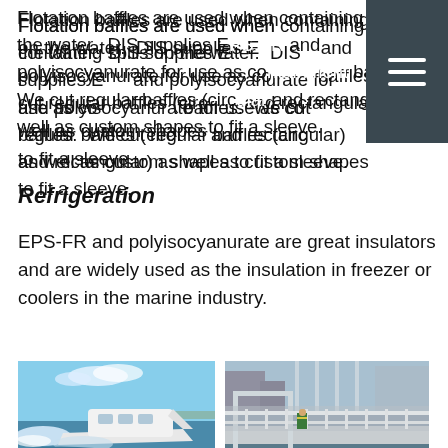Flotation baffles are used when containing spills on the water. DIS supplies EPS-FR and polyisocyanurate for use as containment baffles. We cut regular baffles (circular and rectangular) as well as custom shapes to fit a sleeve.
Refrigeration
EPS-FR and polyisocyanurate are great insulators and are widely used as the insulation in freezer or coolers in the marine industry.
[Figure (photo): A white speedboat racing across the water with a large wake behind it, blue sky in background]
[Figure (photo): A dock or marine structure with white metal framework, a worker in a yellow/green vest visible on the platform near water]
Packaging